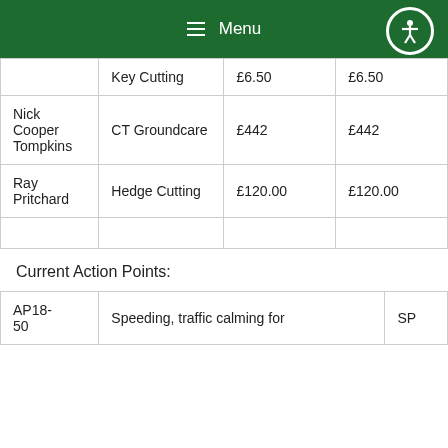Menu
|  | Key Cutting | £6.50 | £6.50 |
| Nick Cooper Tompkins | CT Groundcare | £442 | £442 |
| Ray Pritchard | Hedge Cutting | £120.00 | £120.00 |
|  |  |  |  |
Current Action Points:
| AP18-50 | Speeding, traffic calming for... | SP |